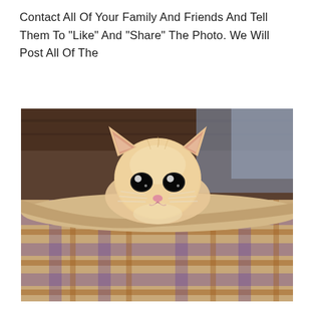Contact All Of Your Family And Friends And Tell Them To "Like" And "Share" The Photo. We Will Post All Of The
[Figure (photo): A small orange/cream fluffy kitten with large dark eyes peering over the edge of a plaid/tartan fabric, possibly a pet bed or blanket, with a blurred wooden background.]